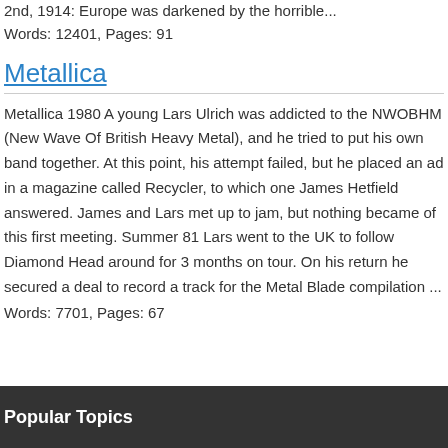2nd, 1914: Europe was darkened by the horrible...
Words: 12401, Pages: 91
Metallica
Metallica 1980 A young Lars Ulrich was addicted to the NWOBHM (New Wave Of British Heavy Metal), and he tried to put his own band together. At this point, his attempt failed, but he placed an ad in a magazine called Recycler, to which one James Hetfield answered. James and Lars met up to jam, but nothing became of this first meeting. Summer 81 Lars went to the UK to follow Diamond Head around for 3 months on tour. On his return he secured a deal to record a track for the Metal Blade compilation ...
Words: 7701, Pages: 67
Popular Topics